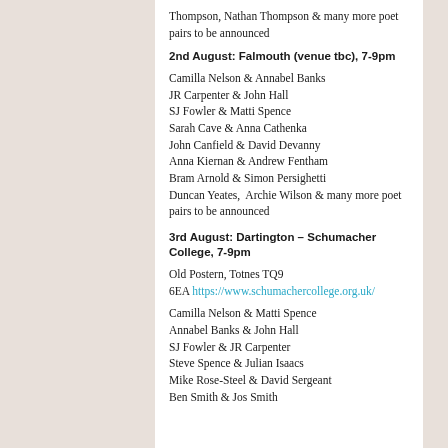Thompson, Nathan Thompson & many more poet pairs to be announced
2nd August: Falmouth (venue tbc), 7-9pm
Camilla Nelson & Annabel Banks
JR Carpenter & John Hall
SJ Fowler & Matti Spence
Sarah Cave & Anna Cathenka
John Canfield & David Devanny
Anna Kiernan & Andrew Fentham
Bram Arnold & Simon Persighetti
Duncan Yeates,  Archie Wilson & many more poet pairs to be announced
3rd August: Dartington – Schumacher College, 7-9pm
Old Postern, Totnes TQ9 6EA https://www.schumachercollege.org.uk/
Camilla Nelson & Matti Spence
Annabel Banks & John Hall
SJ Fowler & JR Carpenter
Steve Spence & Julian Isaacs
Mike Rose-Steel & David Sergeant
Ben Smith & Jos Smith